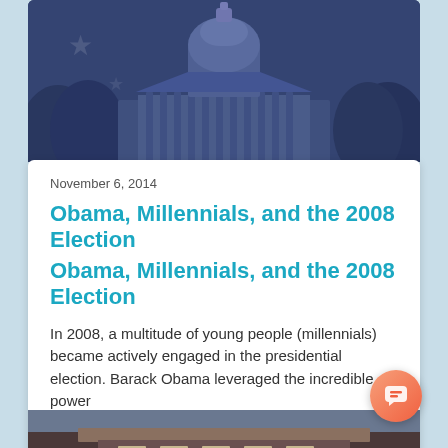[Figure (photo): US Capitol building with blue tint overlay and star watermark]
November 6, 2014
Obama, Millennials, and the 2008 Election
Obama, Millennials, and the 2008 Election
In 2008, a multitude of young people (millennials) became actively engaged in the presidential election. Barack Obama leveraged the incredible power
Civic Engagement
[Figure (photo): Partial view of a building rooftop, bottom of page]